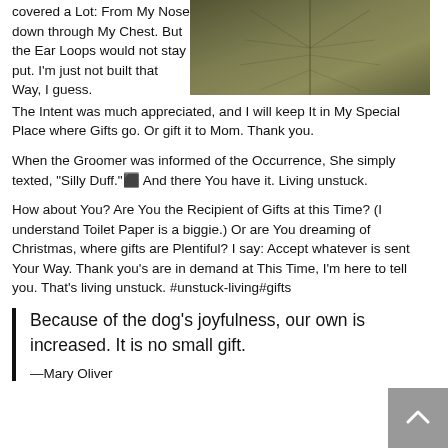covered a Lot: From My Nose down through My Chest. But the Ear Loops would not stay put. I'm just not built that Way, I guess. The Intent was much appreciated, and I will keep It in My Special Place where Gifts go. Or gift it to Mom. Thank you.
[Figure (photo): Close-up photo of dark olive/khaki textured material, possibly fabric or leather]
When the Groomer was informed of the Occurrence, She simply texted, “Silly Duff.”⬛ And there You have it. Living unstuck.
How about You? Are You the Recipient of Gifts at this Time? (I understand Toilet Paper is a biggie.) Or are You dreaming of Christmas, where gifts are Plentiful? I say: Accept whatever is sent Your Way. Thank you’s are in demand at This Time, I’m here to tell you. That’s living unstuck. #unstuck-living#gifts
Because of the dog’s joyfulness, our own is increased. It is no small gift.
—Mary Oliver